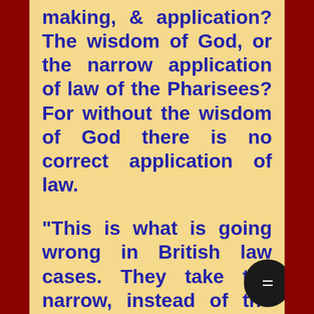making, & application? The wisdom of God, or the narrow application of law of the Pharisees? For without the wisdom of God there is no correct application of law.

“This is what is going wrong in British law cases. They take the narrow, instead of the context. This is what is happening with the Revelation TV case at this time. They find the narrow procedural fault, rather than gaining understanding of the whole heart of the